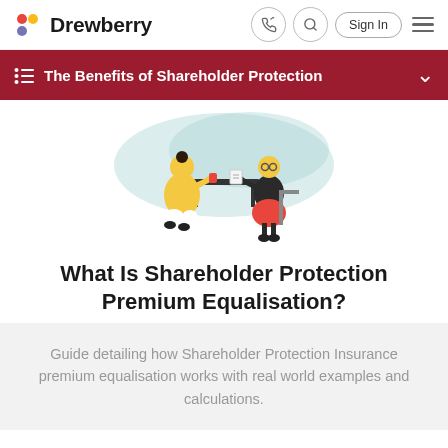Drewberry
The Benefits of Shareholder Protection
[Figure (illustration): Two people sitting across from each other at a table, having a meeting or discussion. One person wears yellow, the other wears dark clothing. Illustrated in a flat design style with teal brush stroke background.]
What Is Shareholder Protection Premium Equalisation?
Guide detailing how Shareholder Protection Insurance premium equalisation works with real world examples and calculations.